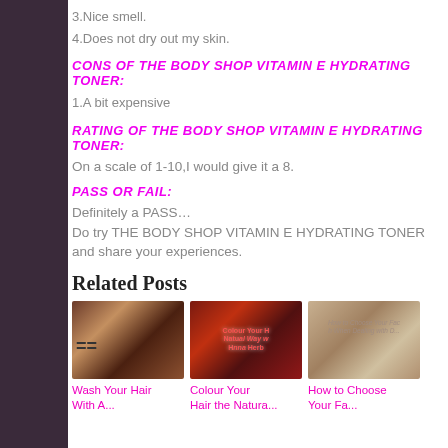3.Nice smell.
4.Does not dry out my skin.
CONS OF THE BODY SHOP VITAMIN E HYDRATING TONER:
1.A bit expensive
RATING OF THE BODY SHOP VITAMIN E HYDRATING TONER:
On a scale of 1-10,I would give it a 8.
PASS OR FAIL:
Definitely a PASS…
Do try THE BODY SHOP VITAMIN E HYDRATING TONER and share your experiences.
Related Posts
[Figure (photo): Photo of woman with long brown hair]
Wash Your Hair With A...
[Figure (photo): Photo of woman with red hair and text overlay: Colour Your Hair the Natural Way with Henna]
Colour Your Hair the Natura...
[Figure (photo): Photo of woman's face with text overlay: How to Choose Your Face Wash When Dealing with D...]
How to Choose Your Fa...